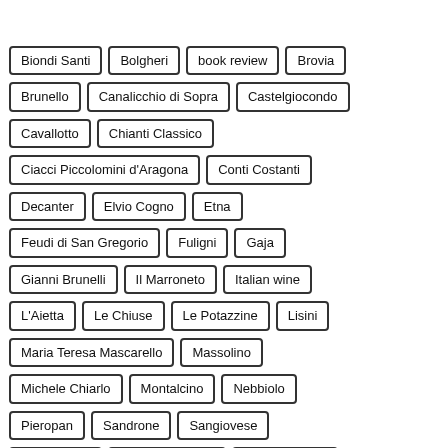Biondi Santi
Bolgheri
book review
Brovia
Brunello
Canalicchio di Sopra
Castelgiocondo
Cavallotto
Chianti Classico
Ciacci Piccolomini d'Aragona
Conti Costanti
Decanter
Elvio Cogno
Etna
Feudi di San Gregorio
Fuligni
Gaja
Gianni Brunelli
Il Marroneto
Italian wine
L'Aietta
Le Chiuse
Le Potazzine
Lisini
Maria Teresa Mascarello
Massolino
Michele Chiarlo
Montalcino
Nebbiolo
Pieropan
Sandrone
Sangiovese
vino italiano
Wine Enthusiast
Wine Reviews